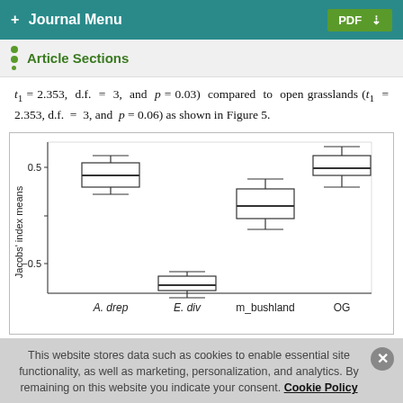+ Journal Menu | PDF
Article Sections
t₁ = 2.353, d.f. = 3, and p = 0.03) compared to open grasslands (t₁ = 2.353, d.f. = 3, and p = 0.06) as shown in Figure 5.
[Figure (other): Box plot showing Jacobs' index means for four categories: A. drep (median ~0.4), E. div (median ~-0.8), m_bushland (median ~0.1), OG (median ~0.5). Y-axis ranges from about -0.5 to above 0.5.]
This website stores data such as cookies to enable essential site functionality, as well as marketing, personalization, and analytics. By remaining on this website you indicate your consent. Cookie Policy